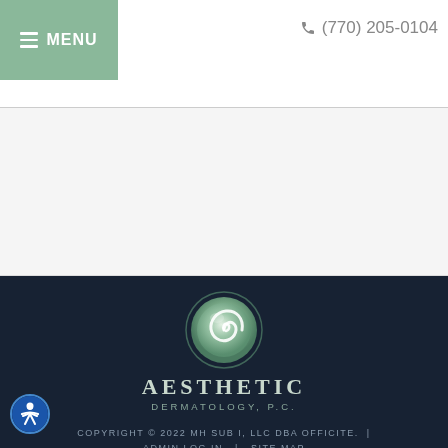≡ MENU  ☎ (770) 205-0104
[Figure (logo): Aesthetic Dermatology P.C. spiral logo — green circular emblem with white spiral inside, text AESTHETIC DERMATOLOGY, P.C. below]
COPYRIGHT © 2022 MH SUB I, LLC DBA OFFICITE.  |  ADMIN LOG IN  |  SITE MAP